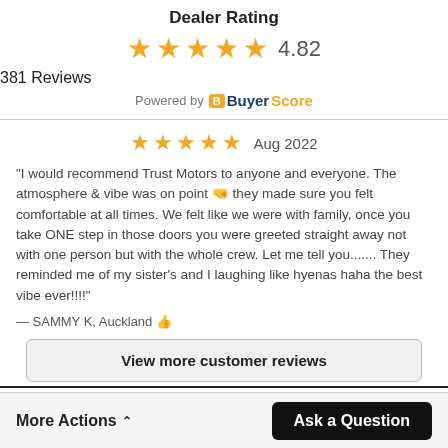Dealer Rating
4.82
381 Reviews
Powered by BuyerScore
Aug 2022
"I would recommend Trust Motors to anyone and everyone. The atmosphere & vibe was on point 🙌 they made sure you felt comfortable at all times. We felt like we were with family, once you take ONE step in those doors you were greeted straight away not with one person but with the whole crew. Let me tell you....... They reminded me of my sister's and I laughing like hyenas haha the best vibe ever!!!!"
— SAMMY K, Auckland 👍
View more customer reviews
More Actions ∧
Ask a Question